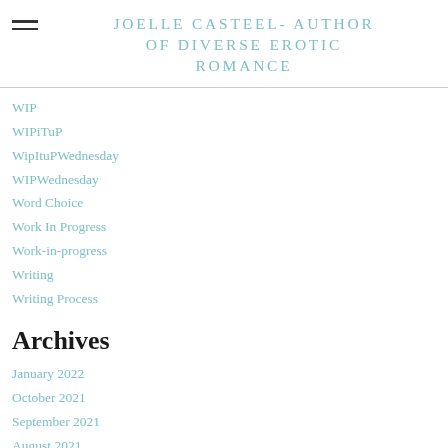JOELLE CASTEEL- AUTHOR OF DIVERSE EROTIC ROMANCE
WIP
WIPiTuP
WipItuPWednesday
WIPWednesday
Word Choice
Work In Progress
Work-in-progress
Writing
Writing Process
Archives
January 2022
October 2021
September 2021
August 2021
May 2021